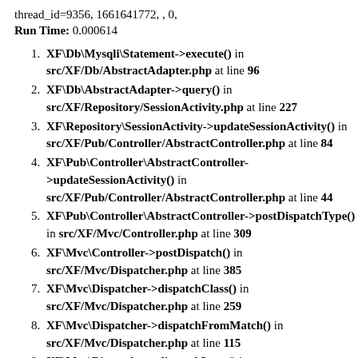thread_id=9356, 1661641772, , 0,
Run Time: 0.000614
XF\Db\Mysqli\Statement->execute() in src/XF/Db/AbstractAdapter.php at line 96
XF\Db\AbstractAdapter->query() in src/XF/Repository/SessionActivity.php at line 227
XF\Repository\SessionActivity->updateSessionActivity() in src/XF/Pub/Controller/AbstractController.php at line 84
XF\Pub\Controller\AbstractController->updateSessionActivity() in src/XF/Pub/Controller/AbstractController.php at line 44
XF\Pub\Controller\AbstractController->postDispatchType() in src/XF/Mvc/Controller.php at line 309
XF\Mvc\Controller->postDispatch() in src/XF/Mvc/Dispatcher.php at line 385
XF\Mvc\Dispatcher->dispatchClass() in src/XF/Mvc/Dispatcher.php at line 259
XF\Mvc\Dispatcher->dispatchFromMatch() in src/XF/Mvc/Dispatcher.php at line 115
XF\Mvc\Dispatcher->dispatchLoop() in